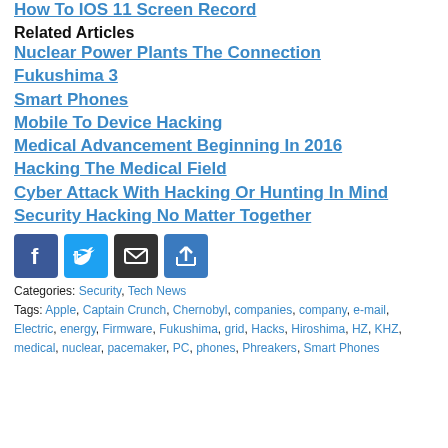How To IOS 11 Screen Record
Related Articles
Nuclear Power Plants The Connection
Fukushima 3
Smart Phones
Mobile To Device Hacking
Medical Advancement Beginning In 2016
Hacking The Medical Field
Cyber Attack With Hacking Or Hunting In Mind
Security Hacking No Matter Together
[Figure (infographic): Social sharing icons: Facebook, Twitter, Email, Share]
Categories: Security, Tech News
Tags: Apple, Captain Crunch, Chernobyl, companies, company, e-mail, Electric, energy, Firmware, Fukushima, grid, Hacks, Hiroshima, HZ, KHZ, medical, nuclear, pacemaker, PC, phones, Phreakers, Smart Phones